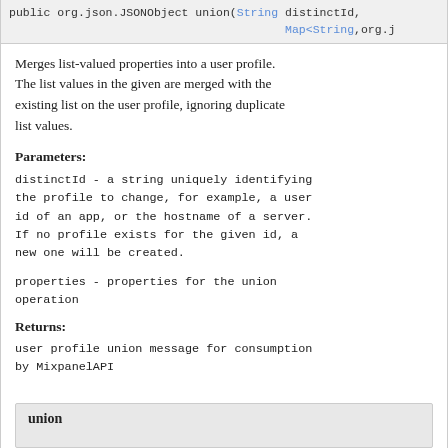public org.json.JSONObject union(String distinctId, Map<String,org.j…
Merges list-valued properties into a user profile. The list values in the given are merged with the existing list on the user profile, ignoring duplicate list values.
Parameters:
distinctId - a string uniquely identifying the profile to change, for example, a user id of an app, or the hostname of a server. If no profile exists for the given id, a new one will be created.
properties - properties for the union operation
Returns:
user profile union message for consumption by MixpanelAPI
union